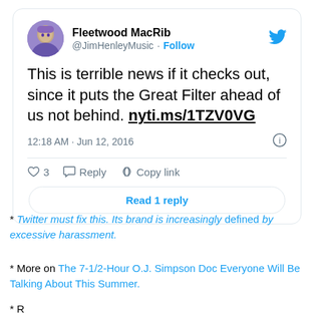[Figure (screenshot): Tweet from Fleetwood MacRib (@JimHenleyMusic) saying 'This is terrible news if it checks out, since it puts the Great Filter ahead of us not behind. nyti.ms/1TZV0VG' posted at 12:18 AM · Jun 12, 2016 with 3 likes and a Read 1 reply button]
* Twitter must fix this. Its brand is increasingly defined by excessive harassment.
* More on The 7-1/2-Hour O.J. Simpson Doc Everyone Will Be Talking About This Summer.
* R...